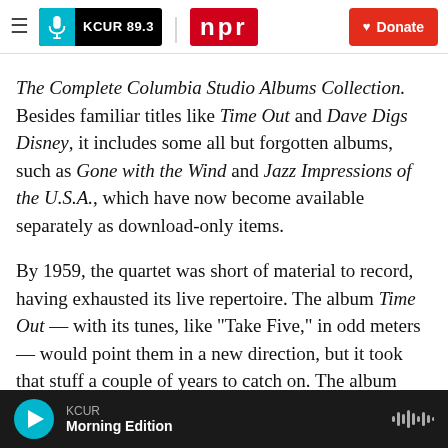KCUR 89.3 | npr | Donate
The Complete Columbia Studio Albums Collection. Besides familiar titles like Time Out and Dave Digs Disney, it includes some all but forgotten albums, such as Gone with the Wind and Jazz Impressions of the U.S.A., which have now become available separately as download-only items.
By 1959, the quartet was short of material to record, having exhausted its live repertoire. The album Time Out — with its tunes, like "Take Five," in odd meters — would point them in a new direction, but it took that stuff a couple of years to catch on. The album Brubeck made just before Time Out,
KCUR | Morning Edition